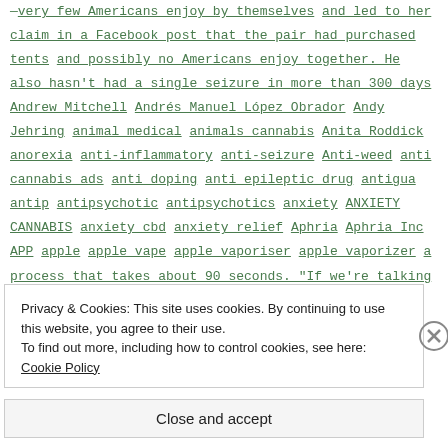—very few Americans enjoy by themselves and led to her claim in a Facebook post that the pair had purchased tents and possibly no Americans enjoy together. He also hasn't had a single seizure in more than 300 days Andrew Mitchell Andrés Manuel López Obrador Andy Jehring animal medical animals cannabis Anita Roddick anorexia anti-inflammatory anti-seizure Anti-weed anti cannabis ads anti doping anti epileptic drug antigua antip antipsychotic antipsychotics anxiety ANXIETY CANNABIS anxiety cbd anxiety relief Aphria Aphria Inc APP apple apple vape apple vaporiser apple vaporizer a process that takes about 90 seconds. "If we're talking about money Aqueous Phytorecovery Process Arcadia Biosciences Arfon Jones Argentina ARISER Arizona Arizona State University Arjan Roskam ART CANNABIS arthritis ASD ASTHMA atheletes marijuan athens
Privacy & Cookies: This site uses cookies. By continuing to use this website, you agree to their use. To find out more, including how to control cookies, see here: Cookie Policy
Close and accept